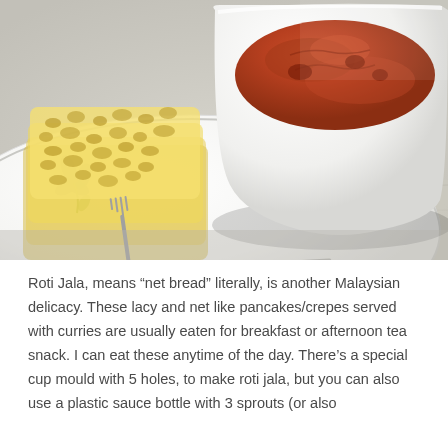[Figure (photo): A decorative plate with lacy yellow net-like roti jala (Malaysian net bread/crepes) beside a white bowl filled with reddish-brown curry sauce, placed on a light wooden surface with a fork visible.]
Roti Jala, means “net bread” literally, is another Malaysian delicacy. These lacy and net like pancakes/crepes served with curries are usually eaten for breakfast or afternoon tea snack. I can eat these anytime of the day. There’s a special cup mould with 5 holes, to make roti jala, but you can also use a plastic sauce bottle with 3 sprouts (or also